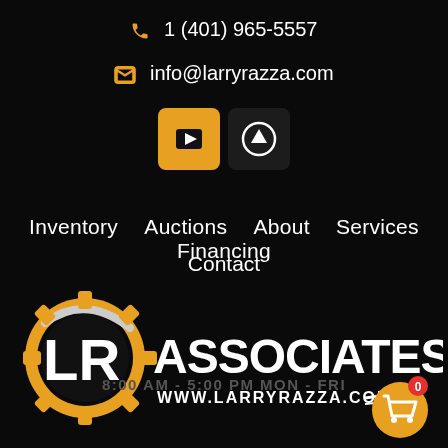1 (401) 965-5557
info@larryrazza.com
[Figure (infographic): Social media buttons: YouTube (orange) and upload/up arrow (dark) icons]
Inventory  Auctions  About  Services  Financing
Contact
[Figure (logo): LR Associates Inc logo with gear, swoosh, text ASSOCIATES INC and www.larryrazza.com]
8:00 AM - 5:00 PM MON - FRI
[Figure (infographic): Shopping cart icon with orange badge showing 0]